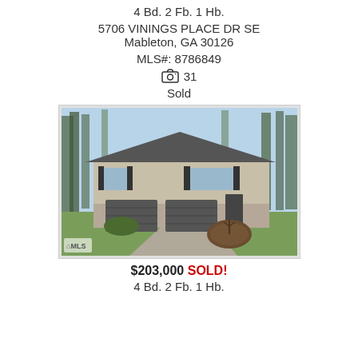4 Bd. 2 Fb. 1 Hb.
5706 VININGS PLACE DR SE
Mableton, GA 30126
MLS#: 8786849
📷 31
Sold
[Figure (photo): Exterior photo of a split-level residential home with two-car garage, dark shutters, tan siding, trees in background, circular garden bed in front yard with bare shrub, green lawn. MLS logo watermark in lower left.]
$203,000 SOLD!
4 Bd. 2 Fb. 1 Hb.